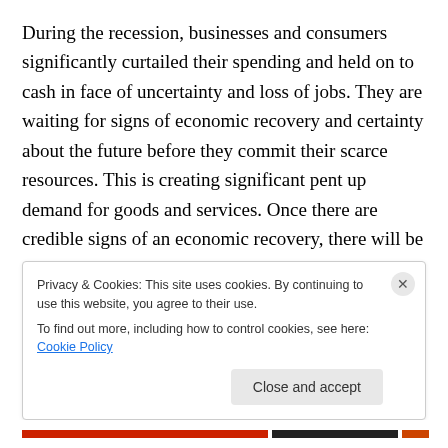During the recession, businesses and consumers significantly curtailed their spending and held on to cash in face of uncertainty and loss of jobs.  They are waiting for signs of economic recovery and certainty about the future before they commit their scarce resources.  This is creating significant pent up demand for goods and services.  Once there are credible signs of an economic recovery, there will be significant pressure on businesses to respond by hiring, investing and fulfilling this pent-up demand.
Privacy & Cookies: This site uses cookies. By continuing to use this website, you agree to their use.
To find out more, including how to control cookies, see here: Cookie Policy